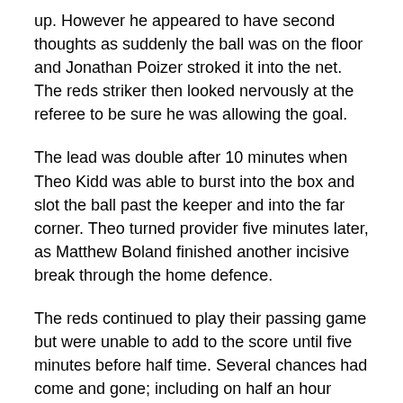up. However he appeared to have second thoughts as suddenly the ball was on the floor and Jonathan Poizer stroked it into the net. The reds striker then looked nervously at the referee to be sure he was allowing the goal.
The lead was double after 10 minutes when Theo Kidd was able to burst into the box and slot the ball past the keeper and into the far corner. Theo turned provider five minutes later, as Matthew Boland finished another incisive break through the home defence.
The reds continued to play their passing game but were unable to add to the score until five minutes before half time. Several chances had come and gone; including on half an hour when Matthew Hassall crossed from the left. Theo got his head to the ball but didn’t really turn it goal wards. Instead it reached Poizer whose firm shot was well saved. Ten minutes later it looked like the fourth goal had arrived when Matthew Boland lobbed the keeper. From the touchline over 50 yards away it looked as if the ball was going to drop nicely in the far